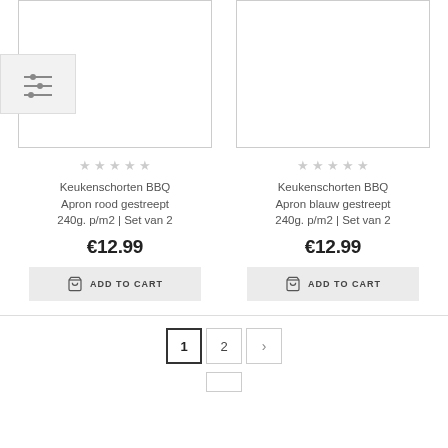[Figure (screenshot): Filter/sort icon button in a grey square box]
[Figure (illustration): Product image placeholder box (left) - white rectangle with border]
[Figure (illustration): Product image placeholder box (right) - white rectangle with border]
★★★★★ (5 empty stars, left product)
★★★★★ (5 empty stars, right product)
Keukenschorten BBQ Apron rood gestreept 240g. p/m2 | Set van 2
Keukenschorten BBQ Apron blauw gestreept 240g. p/m2 | Set van 2
€12.99
€12.99
ADD TO CART
ADD TO CART
1
2
>